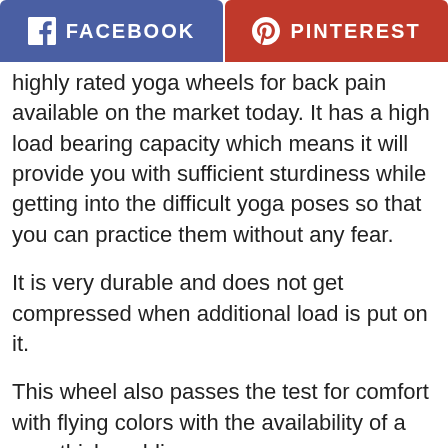[Figure (other): Social share buttons: Facebook (blue) and Pinterest (red)]
highly rated yoga wheels for back pain available on the market today. It has a high load bearing capacity which means it will provide you with sufficient sturdiness while getting into the difficult yoga poses so that you can practice them without any fear.
It is very durable and does not get compressed when additional load is put on it.
This wheel also passes the test for comfort with flying colors with the availability of a very thick padding